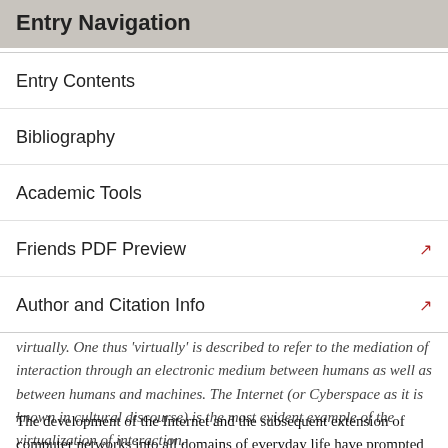Entry Navigation
Entry Contents
Bibliography
Academic Tools
Friends PDF Preview
Author and Citation Info
...virtually. One thus 'virtually' is described to refer to the mediation of interaction through an electronic medium between humans as well as between humans and machines. The Internet (or Cyberspace as it is known in cultural discourse) is the most evident example of the virtualization of interaction.
The development of the Internet and the subsequent extension of computer networks into all domains of everyday life have prompted much speculation about the way in which this information technology will change human existence, especially our notion of sociality and